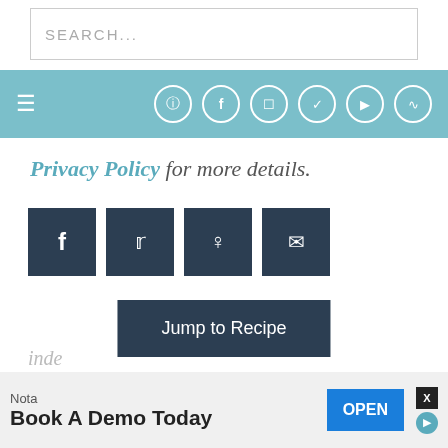SEARCH...
[Figure (screenshot): Teal navigation bar with hamburger menu and social media icons (Pinterest, Facebook, Instagram, Twitter, YouTube, RSS)]
Privacy Policy for more details.
[Figure (infographic): Four dark navy social share buttons: Facebook (f), Twitter (bird), Pinterest (p), Email (envelope)]
[Figure (infographic): Jump to Recipe button (dark navy)]
These Vegan Thumbprint Cookies are soft, buttery and easy to make without any eggs or dairy and a holiday staple for any Christmas cookie platter. The cookie dough comes together in almond flour, dairy-free butter and then inde...
[Figure (screenshot): Advertisement banner: Nota - Book A Demo Today - OPEN button]